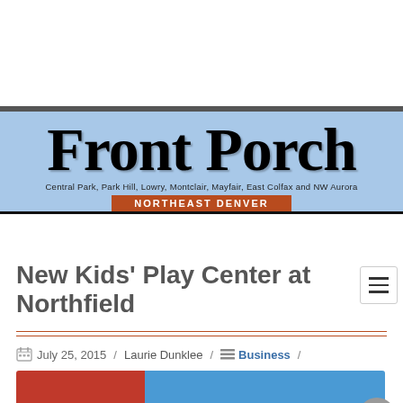[Figure (other): White advertisement space at top of page]
Front Porch — Central Park, Park Hill, Lowry, Montclair, Mayfair, East Colfax and NW Aurora — NORTHEAST DENVER
New Kids' Play Center at Northfield
July 25, 2015 / Laurie Dunklee / Business /